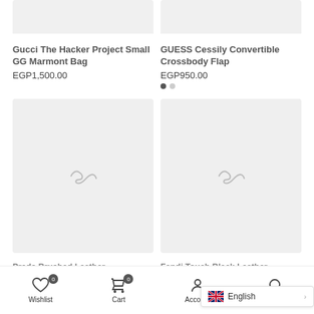[Figure (photo): Top-left product image placeholder (gray rectangle) for Gucci The Hacker Project Small GG Marmont Bag]
[Figure (photo): Top-right product image placeholder (gray rectangle) for GUESS Cessily Convertible Crossbody Flap]
Gucci The Hacker Project Small GG Marmont Bag
EGP1,500.00
GUESS Cessily Convertible Crossbody Flap
EGP950.00
[Figure (photo): Bottom-left product image placeholder with loading spinner for Prada Brushed Leather bag]
[Figure (photo): Bottom-right product image placeholder with loading spinner for Fendi Touch Black Leather bag]
Prada Brushed Leather...
Fendi Touch Black Leather...
Wishlist  Cart  Account  Search  Compare  English